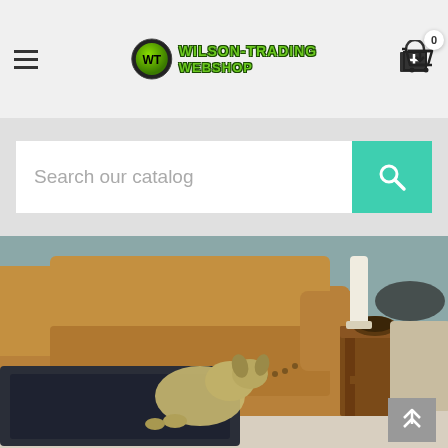[Figure (logo): Wilson-Trading Webshop logo with green circle icon and stylized green text]
Search our catalog
[Figure (photo): A small dog using a dark ramp/steps to climb onto a brown leather sofa, with a wooden side table and decorative items visible in the background]